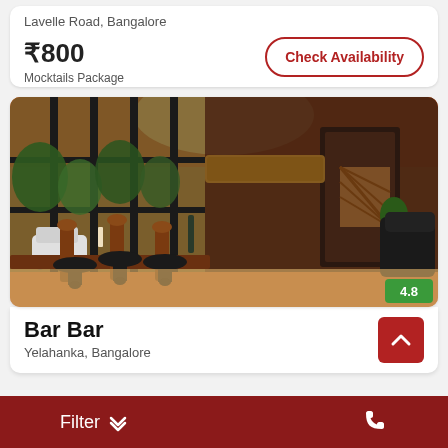Lavelle Road, Bangalore
₹800
Mocktails Package
Check Availability
[Figure (photo): Interior of Bar Bar restaurant showing bar seating along floor-to-ceiling windows with outdoor greenery view, warm orange ambient lighting, wooden bar furniture, leather chairs, and a wooden door in background]
4.8
Bar Bar
Yelahanka, Bangalore
Filter